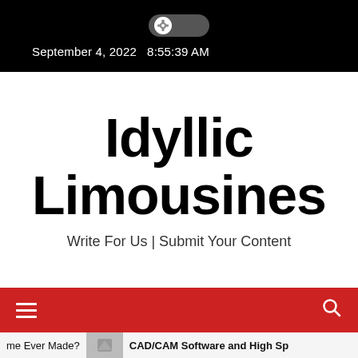September 4, 2022  8:55:39 AM
Idyllic Limousines
Write For Us | Submit Your Content
[Figure (screenshot): Red navigation bar with hamburger menu icon on the left and search icon on the right]
me Ever Made?   CAD/CAM Software and High Sp